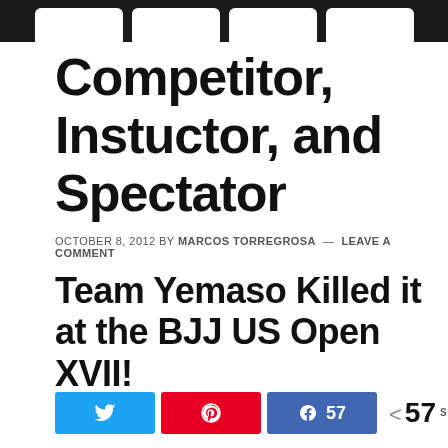Competitor, Instuctor, and Spectator
OCTOBER 8, 2012 By MARCOS TORREGROSA — LEAVE A COMMENT
Team Yemaso Killed it at the BJJ US Open XVII!
Share buttons: Twitter, Pinterest, Facebook 57 — < 57 SHARES